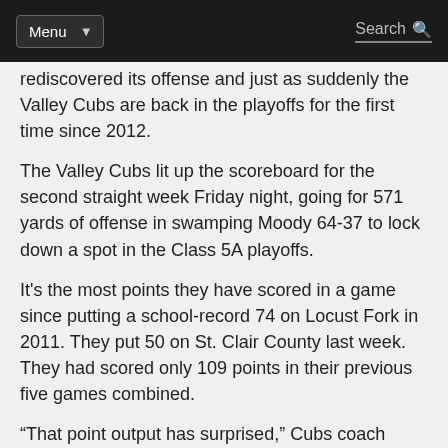Menu  Search
rediscovered its offense and just as suddenly the Valley Cubs are back in the playoffs for the first time since 2012.
The Valley Cubs lit up the scoreboard for the second straight week Friday night, going for 571 yards of offense in swamping Moody 64-37 to lock down a spot in the Class 5A playoffs.
It's the most points they have scored in a game since putting a school-record 74 on Locust Fork in 2011. They put 50 on St. Clair County last week. They had scored only 109 points in their previous five games combined.
“That point output has surprised,” Cubs coach Frank Tucker said. “I knew we were getting better, but I’ve really been pleased we’ve been able to put that many points on the board.